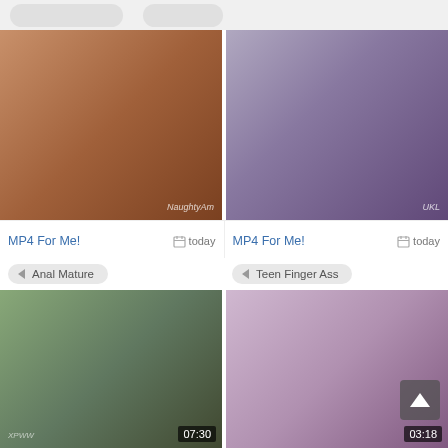[Figure (photo): Adult content video thumbnail 1 - top left]
[Figure (photo): Adult content video thumbnail 2 - top right, watermark UKL]
MP4 For Me!
today
MP4 For Me!
today
Anal Mature
Teen Finger Ass
[Figure (photo): Adult content video thumbnail 3 - bottom left, duration 07:30]
[Figure (photo): Adult content video thumbnail 4 - bottom right, duration 03:18, with up-arrow icon]